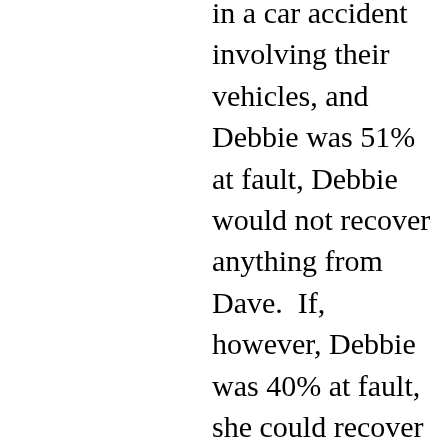in a car accident involving their vehicles, and Debbie was 51% at fault, Debbie would not recover anything from Dave.  If, however, Debbie was 40% at fault, she could recover damages, but the damage award would be reduced by her portion of the fault in causing the injury.  Therefore, a finding that Debbi